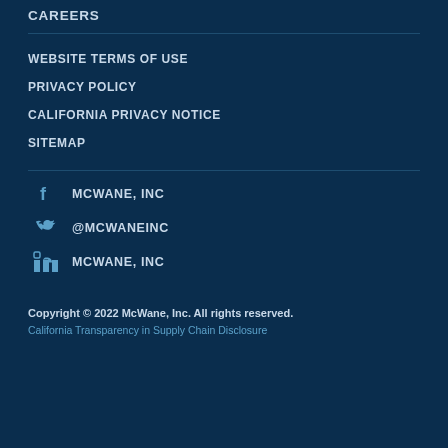CAREERS
WEBSITE TERMS OF USE
PRIVACY POLICY
CALIFORNIA PRIVACY NOTICE
SITEMAP
MCWANE, INC (Facebook)
@MCWANEINC (Twitter)
MCWANE, INC (LinkedIn)
Copyright © 2022 McWane, Inc. All rights reserved.
California Transparency in Supply Chain Disclosure